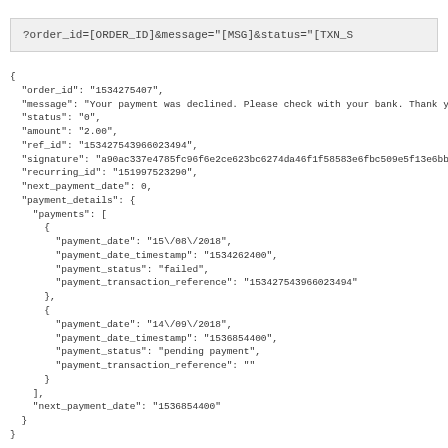?order_id=[ORDER_ID]&message="[MSG]&status="[TXN_S
{
  "order_id": "1534275407",
  "message": "Your payment was declined. Please check with your bank. Thank you.",
  "status": "0",
  "amount": "2.00",
  "ref_id": "153427543966023494",
  "signature": "a90ac337e4785fc96f6e2ce623bc6274da46f1f58583e6fbc509e5f13e6bb274",
  "recurring_id": "151997523290",
  "next_payment_date": 0,
  "payment_details": {
    "payments": [
      {
        "payment_date": "15\/08\/2018",
        "payment_date_timestamp": "1534262400",
        "payment_status": "failed",
        "payment_transaction_reference": "153427543966023494"
      },
      {
        "payment_date": "14\/09\/2018",
        "payment_date_timestamp": "1536854400",
        "payment_status": "pending payment",
        "payment_transaction_reference": ""
      }
    ],
    "next_payment_date": "1536854400"
  }
}